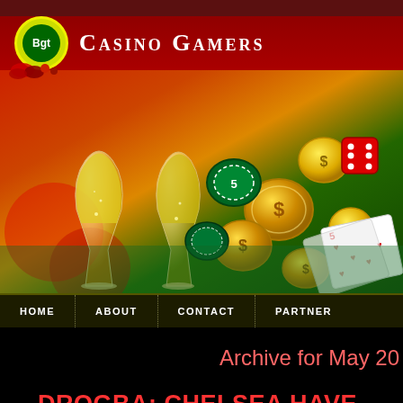[Figure (screenshot): Casino Gamers website screenshot showing header with Bgt logo, casino imagery with champagne glasses, coins, chips, dice and playing cards, navigation bar with HOME, ABOUT, CONTACT, PARTNER links, archive heading 'Archive for May 20' and article title 'DROGBA: CHELSEA HAVE THE']
Casino Gamers
HOME | ABOUT | CONTACT | PARTNER
Archive for May 20
DROGBA: CHELSEA HAVE THE